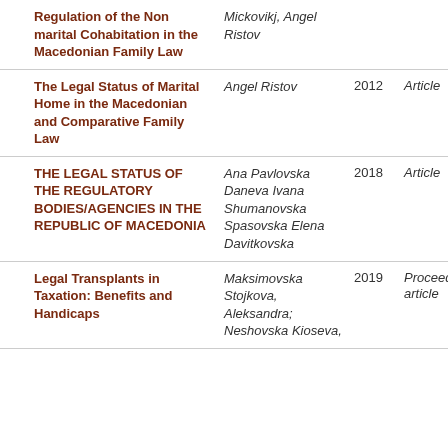|  | Title | Author | Year | Type |
| --- | --- | --- | --- | --- |
|  | Regulation of the Non marital Cohabitation in the Macedonian Family Law | Mickovikj, Angel Ristov |  |  |
|  | The Legal Status of Marital Home in the Macedonian and Comparative Family Law | Angel Ristov | 2012 | Article |
|  | THE LEGAL STATUS OF THE REGULATORY BODIES/AGENCIES IN THE REPUBLIC OF MACEDONIA | Ana Pavlovska Daneva Ivana Shumanovska Spasovska Elena Davitkovska | 2018 | Article |
|  | Legal Transplants in Taxation: Benefits and Handicaps | Maksimovska Stojkova, Aleksandra; Neshovska Kioseva, | 2019 | Proceeding article |